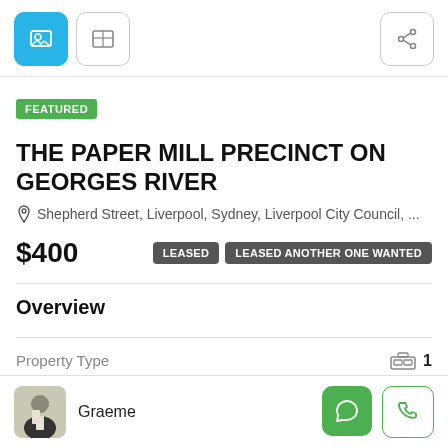[Figure (screenshot): Top navigation bar with two icon buttons (photo/map view) and a share icon button on the right]
FEATURED
THE PAPER MILL PRECINCT ON GEORGES RIVER
Shepherd Street, Liverpool, Sydney, Liverpool City Council, ...
$400
LEASED  LEASED ANOTHER ONE WANTED
Overview
Property Type    1
Graeme